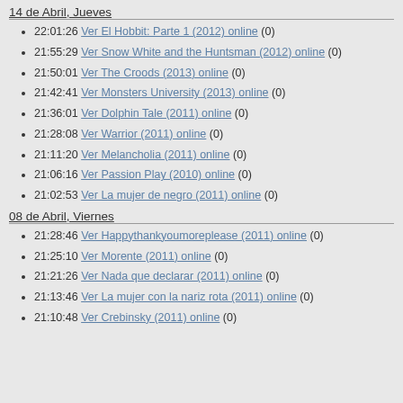14 de Abril, Jueves
22:01:26 Ver El Hobbit: Parte 1 (2012) online (0)
21:55:29 Ver Snow White and the Huntsman (2012) online (0)
21:50:01 Ver The Croods (2013) online (0)
21:42:41 Ver Monsters University (2013) online (0)
21:36:01 Ver Dolphin Tale (2011) online (0)
21:28:08 Ver Warrior (2011) online (0)
21:11:20 Ver Melancholia (2011) online (0)
21:06:16 Ver Passion Play (2010) online (0)
21:02:53 Ver La mujer de negro (2011) online (0)
08 de Abril, Viernes
21:28:46 Ver Happythankyoumoreplease (2011) online (0)
21:25:10 Ver Morente (2011) online (0)
21:21:26 Ver Nada que declarar (2011) online (0)
21:13:46 Ver La mujer con la nariz rota (2011) online (0)
21:10:48 Ver Crebinsky (2011) online (0)